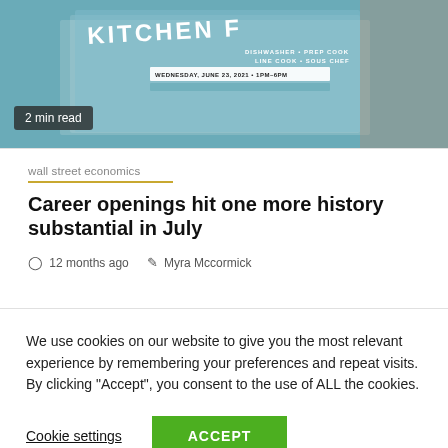[Figure (photo): Photo of kitchen job fair flyer with teal/blue background, showing text KITCHEN, DISHWASHER, PREP COOK, LINE COOK, SOUS CHEF, WEDNESDAY JUNE 23, 2021, with a hand holding the flyer]
2 min read
wall street economics
Career openings hit one more history substantial in July
12 months ago   Myra Mccormick
We use cookies on our website to give you the most relevant experience by remembering your preferences and repeat visits. By clicking “Accept”, you consent to the use of ALL the cookies.
Cookie settings
ACCEPT